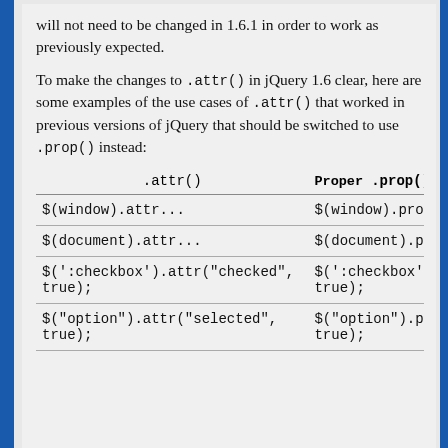will not need to be changed in 1.6.1 in order to work as previously expected.
To make the changes to .attr() in jQuery 1.6 clear, here are some examples of the use cases of .attr() that worked in previous versions of jQuery that should be switched to use .prop() instead:
| .attr() | Proper .prop() usage |
| --- | --- |
| $(window).attr... | $(window).prop... |
| $(document).attr... | $(document).prop... |
| $(':checkbox').attr('checked', true); | $(':checkbox').prop('che... true); |
| $("option").attr("selected", true); | $("option").prop("selecte... true); |